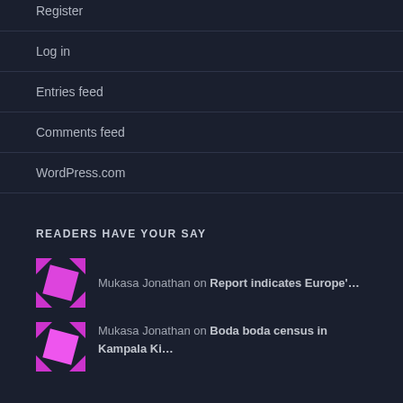Register
Log in
Entries feed
Comments feed
WordPress.com
READERS HAVE YOUR SAY
Mukasa Jonathan on Report indicates Europe'…
Mukasa Jonathan on Boda boda census in Kampala Ki…